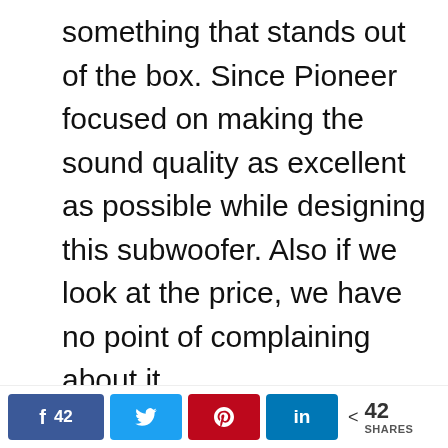something that stands out of the box. Since Pioneer focused on making the sound quality as excellent as possible while designing this subwoofer. Also if we look at the price, we have no point of complaining about it.

It provides you with a power output of 4000W which is capable
f 42  [twitter icon]  [pinterest icon]  in  < 42 SHARES